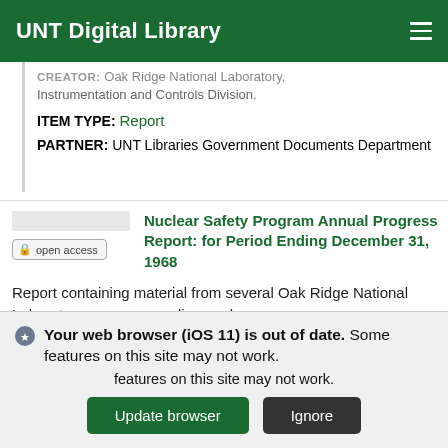UNT Digital Library
Oak Ridge National Laboratory, Instrumentation and Controls Division.
ITEM TYPE: Report
PARTNER: UNT Libraries Government Documents Department
Nuclear Safety Program Annual Progress Report: for Period Ending December 31, 1968
Report containing material from several Oak Ridge National Laboratory groups regarding nuclear
Your web browser (iOS 11) is out of date. Some features on this site may not work.